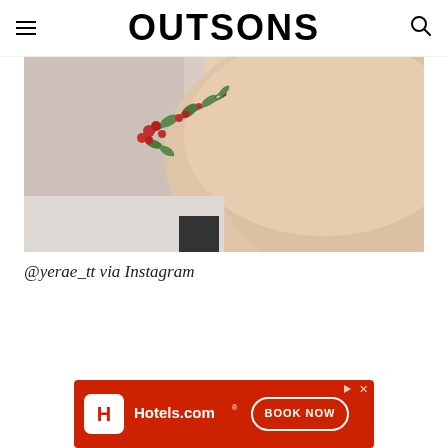OUTSONS
[Figure (photo): Close-up photo of a person's shoulder/back with a delicate floral tattoo featuring red berries and green leaves on light skin, with white fabric in the background.]
@yerae_tt via Instagram
[Figure (infographic): Hotels.com advertisement banner with red background, Hotels.com logo on left, and BOOK NOW button on right.]